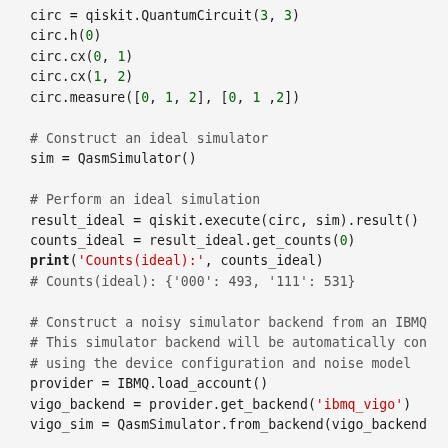circ = qiskit.QuantumCircuit(3, 3)
circ.h(0)
circ.cx(0, 1)
circ.cx(1, 2)
circ.measure([0, 1, 2], [0, 1 ,2])

# Construct an ideal simulator
sim = QasmSimulator()

# Perform an ideal simulation
result_ideal = qiskit.execute(circ, sim).result()
counts_ideal = result_ideal.get_counts(0)
print('Counts(ideal):', counts_ideal)
# Counts(ideal): {'000': 493, '111': 531}

# Construct a noisy simulator backend from an IBMQ
# This simulator backend will be automatically con
# using the device configuration and noise model
provider = IBMQ.load_account()
vigo_backend = provider.get_backend('ibmq_vigo')
vigo_sim = QasmSimulator.from_backend(vigo_backend

# Perform noisy simulation
result_noise = qiskit.execute(circ, vigo_sim).resu